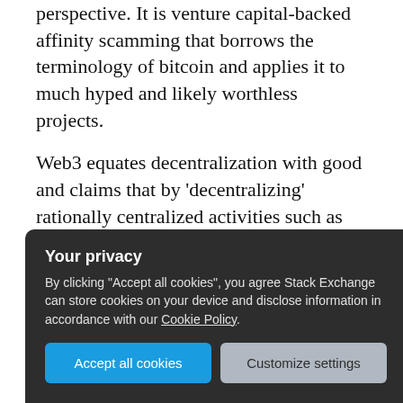perspective. It is venture capital-backed affinity scamming that borrows the terminology of bitcoin and applies it to much hyped and likely worthless projects.
Web3 equates decentralization with good and claims that by 'decentralizing' rationally centralized activities such as cloud storage, social media hosting, or whatever, this new service is better than the web2 version.
This is nonsense.
Decentralization is slow and expensive. It's not
[Figure (screenshot): Cookie consent banner overlay with dark background. Title: 'Your privacy'. Body text: 'By clicking "Accept all cookies", you agree Stack Exchange can store cookies on your device and disclose information in accordance with our Cookie Policy.' Two buttons: 'Accept all cookies' (blue) and 'Customize settings' (grey).]